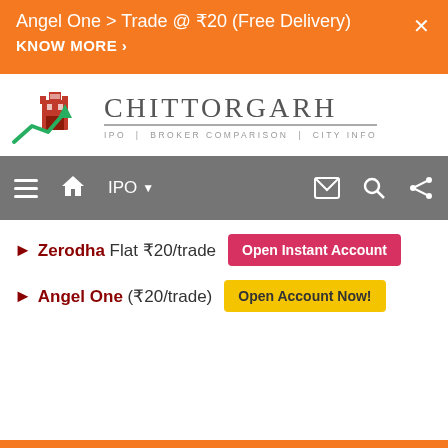Angel One > Trade @ ₹20 (Free Delivery)
KNOW MORE ›
[Figure (logo): Chittorgarh logo with fort icon and green upward arrow chart, text: CHITTORGARH, IPO | BROKER COMPARISON | CITY INFO]
Navigation bar with hamburger menu, home icon, IPO dropdown, envelope, search, and share icons
► Zerodha Flat ₹20/trade  Open Instant Account
► Angel One (₹20/trade)  Open Account Now!